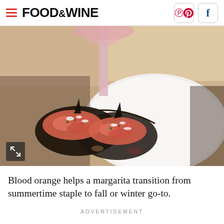FOOD&WINE
[Figure (photo): Close-up food photography showing dark taco shells filled with salmon tartare topped with herbs and cheese, served on a white plate with a pink cocktail glass stem visible above, restaurant setting]
Blood orange helps a margarita transition from summertime staple to fall or winter go-to.
ADVERTISEMENT